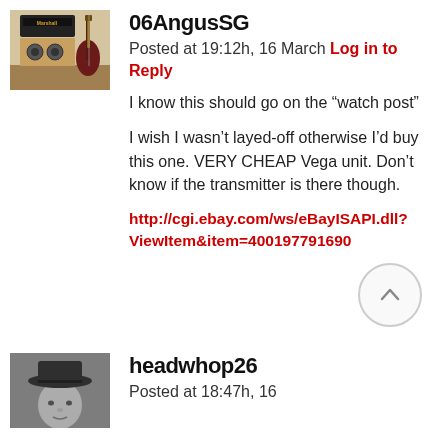[Figure (photo): Avatar photo of a guitar leaning against a Marshall amplifier in a room]
06AngusSG
Posted at 19:12h, 16 March Log in to Reply
I know this should go on the “watch post”
I wish I wasn’t layed-off otherwise I’d buy this one. VERY CHEAP Vega unit. Don’t know if the transmitter is there though.
http://cgi.ebay.com/ws/eBayISAPI.dll?ViewItem&item=400197791690
[Figure (photo): Avatar photo of a person wearing a hat, black and white image]
headwhop26
Posted at 18:47h, 16